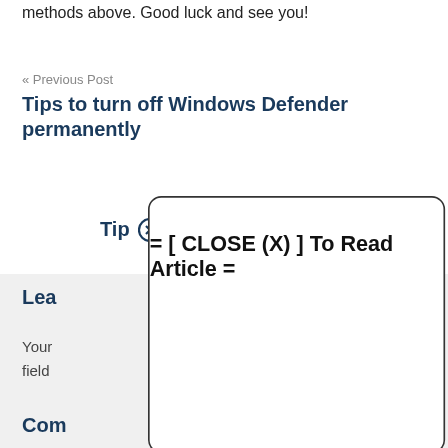methods above. Good luck and see you!
« Previous Post
Tips to turn off Windows Defender permanently
Next Post »
Tips to ... fire (FF)
[Figure (screenshot): Modal dialog overlay reading '= [ CLOSE (X) ] To Read Article =' with a close icon button, displayed over the page content]
Lea...
Your email address will not be published. Required fields are marked *
Com...